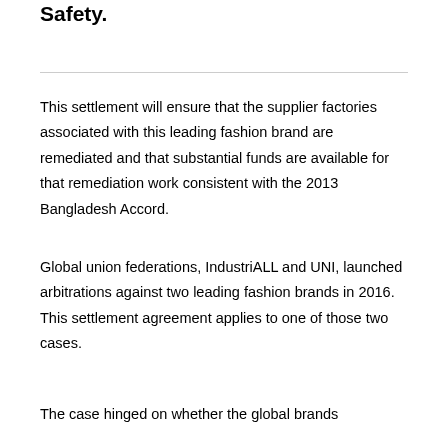Safety.
This settlement will ensure that the supplier factories associated with this leading fashion brand are remediated and that substantial funds are available for that remediation work consistent with the 2013 Bangladesh Accord.
Global union federations, IndustriALL and UNI, launched arbitrations against two leading fashion brands in 2016.  This settlement agreement applies to one of those two cases.
The case hinged on whether the global brands